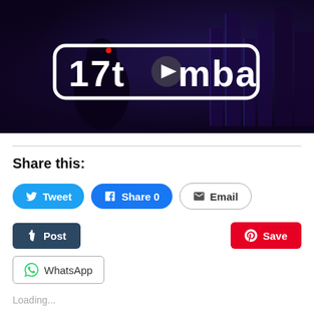[Figure (screenshot): Video thumbnail showing a dark cyberpunk scene with a robot/armored figure against a neon-lit city skyline. The '17tumba' logo with a play button is overlaid in white rounded rectangle outline in the center.]
Share this:
Tweet  Share 0  Email
Post  Save  WhatsApp
Loading...